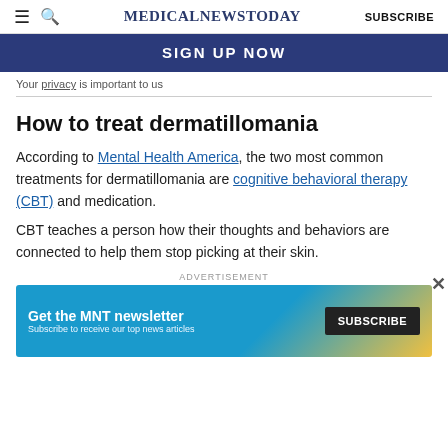MedicalNewsToday  SUBSCRIBE
[Figure (other): Blue signup bar with text 'SIGN UP NOW']
Your privacy is important to us
How to treat dermatillomania
According to Mental Health America, the two most common treatments for dermatillomania are cognitive behavioral therapy (CBT) and medication.
CBT teaches a person how their thoughts and behaviors are connected to help them stop picking at their skin.
[Figure (other): Advertisement banner: Get the MNT newsletter. Subscribe to receive our top news articles. SUBSCRIBE button.]